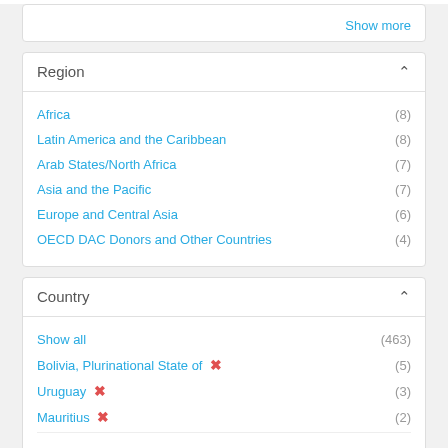Show more
Region
Africa (8)
Latin America and the Caribbean (8)
Arab States/North Africa (7)
Asia and the Pacific (7)
Europe and Central Asia (6)
OECD DAC Donors and Other Countries (4)
Country
Show all (463)
Bolivia, Plurinational State of ✕ (5)
Uruguay ✕ (3)
Mauritius ✕ (2)